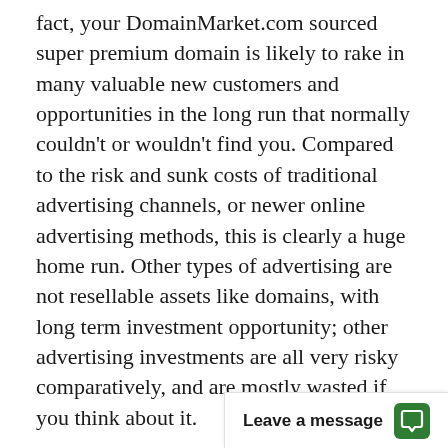fact, your DomainMarket.com sourced super premium domain is likely to rake in many valuable new customers and opportunities in the long run that normally couldn't or wouldn't find you. Compared to the risk and sunk costs of traditional advertising channels, or newer online advertising methods, this is clearly a huge home run. Other types of advertising are not resellable assets like domains, with long term investment opportunity; other advertising investments are all very risky comparatively, and are mostly wasted if you think about it.
First come, first served. Don't miss this once in a lifetime opportunity to be #1. The first person or company to secure MillerEye.com from this site can control it forever, to the exclusion of all others. It will become out of our co[ntrol and will always appear first in Google! All tha[t...]
Leave a message